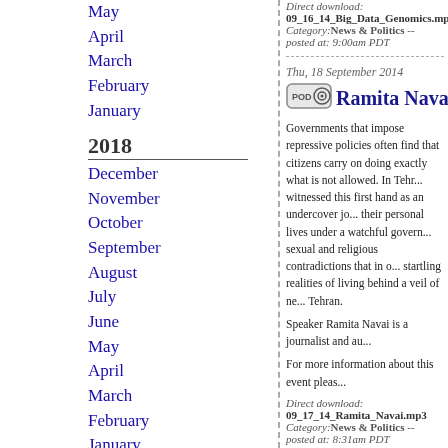May
April
March
February
January
2018
December
November
October
September
August
July
June
May
April
March
February
January
2017
December
November
October
September
August
July
June
May
April
March
February
January
Direct download: 09_16_14_Big_Data_Genomics.mp
Category: News & Politics -- posted at: 9:00am PDT
Thu, 18 September 2014
Ramita Navai: In the...
Governments that impose repressive policies often find that citizens carry on doing exactly what is not allowed. In Tehran, journalist Ramita Navai witnessed this first hand as an undercover journalist, documenting people and their personal lives under a watchful government. She uncovered the sexual and religious contradictions that in order to survive led to some startling realities of living behind a veil of necessity in the city of Tehran.
Speaker Ramita Navai is a journalist and au...
For more information about this event pleas...
Direct download: 09_17_14_Ramita_Navai.mp3
Category: News & Politics -- posted at: 8:31am PDT
Tue, 16 September 2014
Anthony Zinni: Befo...
After four decades of military service and command, General Tony Zinni is well aware that wars are not always decided by weapons estimates, strategies (or the lack thereof) and intelligence assessments on the outcome of war. Few Americans realize how complex it is to run a successful campaign. What triggers lead the US to war? How do we respond to emerging global issues? How can the US military be better prepared for the future? General Zinni will analyze past mistakes to make the process of going to war more clear-eyed, and this event was sponsored by the Marines' Memorial Association.
Speaker Anthony Zinni is the Former Comm...